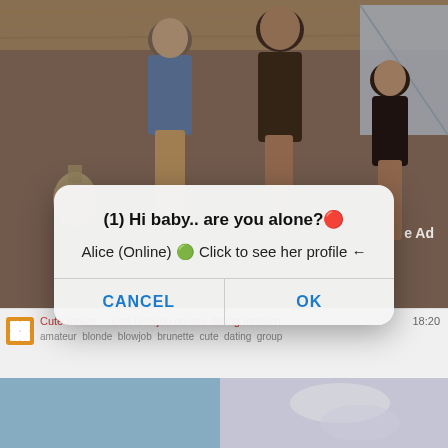[Figure (screenshot): Screenshot of an adult video website with a popup dialog overlaid on video content. The background shows a video thumbnail of people in a wooden room setting. A modal dialog box displays: '(1) Hi baby.. are you alone?🔴' with subtext 'Alice (Online) 💚 Click to see her profile ←' and two buttons: CANCEL and OK. Below the dialog, a middle strip shows a timestamp of 18:20, a red video title text, and tags including 'amateur blonde blowjob brunette cute dating group'. The bottom portion shows another video thumbnail.]